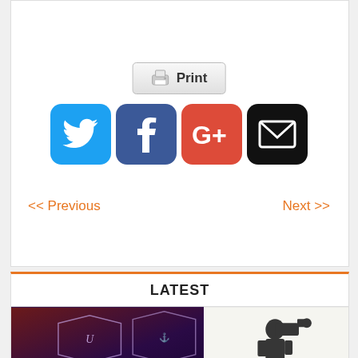[Figure (screenshot): Print button with printer icon]
[Figure (infographic): Social media sharing icons: Twitter (blue bird), Facebook (blue f), Google+ (orange G+), Email (black envelope)]
<< Previous
Next >>
LATEST
[Figure (photo): Left photo: dark purple/maroon background with decorative signs. Right photo: silhouette of person with camera equipment against light background.]